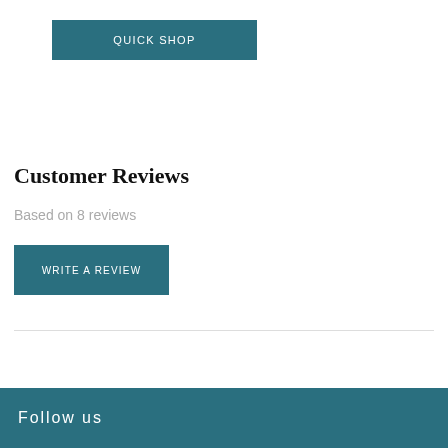[Figure (other): QUICK SHOP button (teal/dark cyan background, white uppercase text)]
[Figure (other): QUICK SHOP button (teal/dark cyan background, white uppercase text)]
Customer Reviews
Based on 8 reviews
[Figure (other): WRITE A REVIEW button (teal/dark cyan background, white uppercase text)]
Follow us